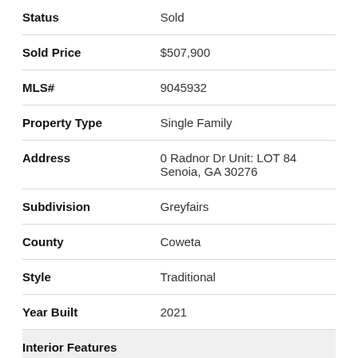| Field | Value |
| --- | --- |
| Status | Sold |
| Sold Price | $507,900 |
| MLS# | 9045932 |
| Property Type | Single Family |
| Address | 0 Radnor Dr Unit: LOT 84
Senoia, GA 30276 |
| Subdivision | Greyfairs |
| County | Coweta |
| Style | Traditional |
| Year Built | 2021 |
| Interior Features |  |
| Master on Main | Yes |